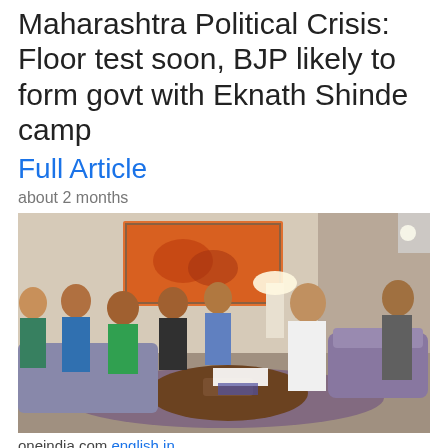Maharashtra Political Crisis: Floor test soon, BJP likely to form govt with Eknath Shinde camp
Full Article
about 2 months
[Figure (photo): Group of men including politicians seated in a hotel room having a meeting around a coffee table. One man in white kurta sits across from several men in casual clothes. A painting hangs on the wall behind them.]
oneindia.com english in
Maharashtra crisis: More MLAs join rebel Sena MLAs camp in Assam